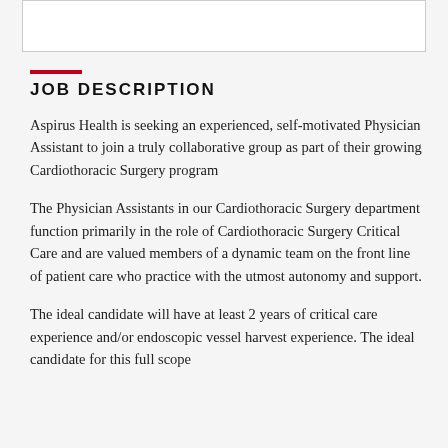[Figure (other): White box/banner area at top of page (likely image or logo area)]
JOB DESCRIPTION
Aspirus Health is seeking an experienced, self-motivated Physician Assistant to join a truly collaborative group as part of their growing Cardiothoracic Surgery program
The Physician Assistants in our Cardiothoracic Surgery department function primarily in the role of Cardiothoracic Surgery Critical Care and are valued members of a dynamic team on the front line of patient care who practice with the utmost autonomy and support.
The ideal candidate will have at least 2 years of critical care experience and/or endoscopic vessel harvest experience. The ideal candidate for this full scope